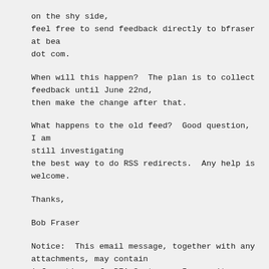on the shy side,
feel free to send feedback directly to bfraser at bea
dot com.
When will this happen?  The plan is to collect
feedback until June 22nd,
then make the change after that.
What happens to the old feed?  Good question, I am
still investigating
the best way to do RSS redirects.  Any help is
welcome.
Thanks,
Bob Fraser
Notice:  This email message, together with any
attachments, may contain
information  of  BEA Systems,  Inc.,  its